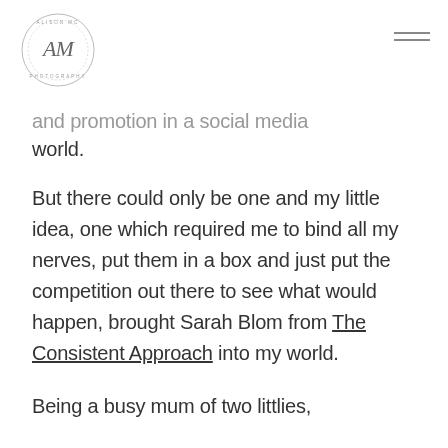Alison McMahon Photography [logo] [navigation menu icon]
and promotion in a social media world.
But there could only be one and my little idea, one which required me to bind all my nerves, put them in a box and just put the competition out there to see what would happen, brought Sarah Blom from The Consistent Approach into my world.
Being a busy mum of two littlies,